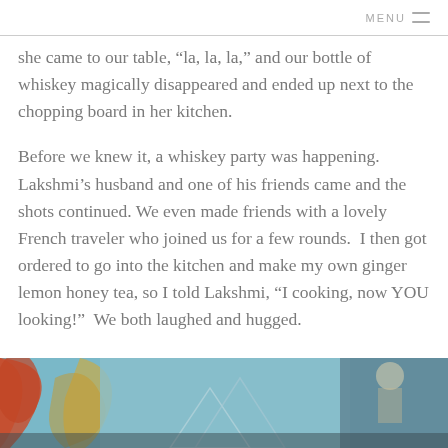MENU
she came to our table, “la, la, la,” and our bottle of whiskey magically disappeared and ended up next to the chopping board in her kitchen.
Before we knew it, a whiskey party was happening. Lakshmi’s husband and one of his friends came and the shots continued. We even made friends with a lovely French traveler who joined us for a few rounds.  I then got ordered to go into the kitchen and make my own ginger lemon honey tea, so I told Lakshmi, “I cooking, now YOU looking!”  We both laughed and hugged.
[Figure (photo): Colorful mural artwork with red, blue and illustrated figures visible at the bottom of the page]